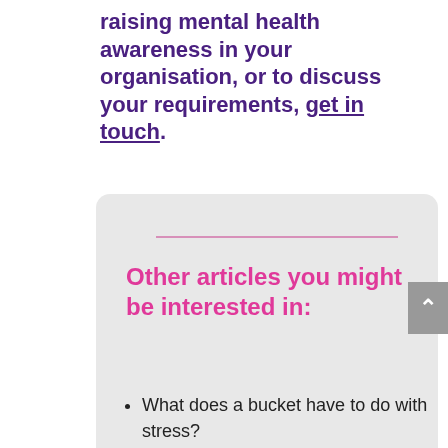raising mental health awareness in your organisation, or to discuss your requirements, get in touch.
Other articles you might be interested in:
What does a bucket have to do with stress?
Emptying the stress bucket
Practising the three principles of positivity for enhanced resilience